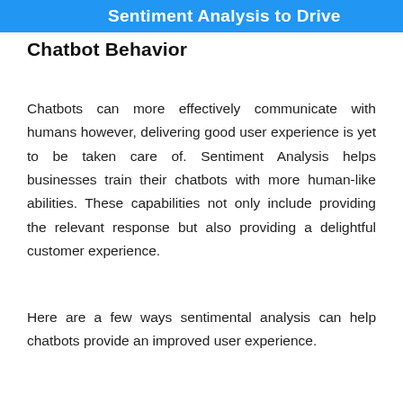Sentiment Analysis to Drive Chatbot Behavior
Chatbot Behavior
Chatbots can more effectively communicate with humans however, delivering good user experience is yet to be taken care of. Sentiment Analysis helps businesses train their chatbots with more human-like abilities. These capabilities not only include providing the relevant response but also providing a delightful customer experience.
Here are a few ways sentimental analysis can help chatbots provide an improved user experience.